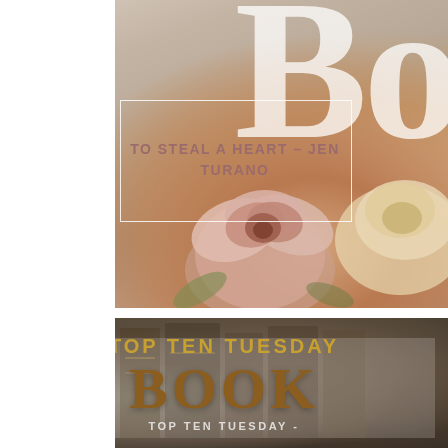[Figure (photo): Top banner image: soft-focus background of fabric/linen with a large 'B' letter watermark in white serif font on the right. A white rectangular border overlays the center-left with text 'TO STEAL A HEART - JEN TURANO' in rose/mauve uppercase letters. Pink and cream roses are in the foreground bottom half.]
[Figure (photo): Bottom banner image: dark background of stacked books with gold lettering visible. Overlaid text reads 'TOP TEN TUESDAY' in bold gold uppercase, then 'BOOK' in large brown serif font, then 'TOP TEN TUESDAY -' in small white uppercase letters below.]